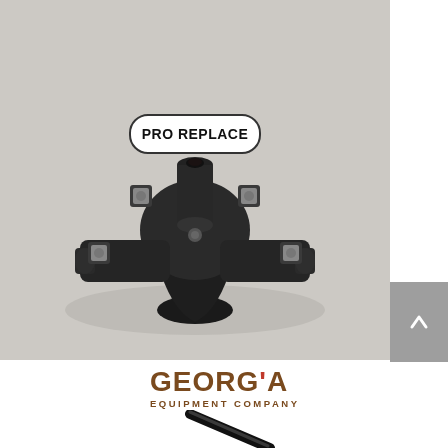[Figure (photo): Product photo of a black cast iron mower blade hub/spindle assembly with four bolt mounting points and bolts/nuts visible. A 'PRO REPLACE' label badge is visible at the top of the part. Background is light gray.]
[Figure (logo): Georgia Equipment Company logo in dark brown/rust color with stylized text.]
[Figure (photo): Partial view of a black metal rod or bar at an angle at the bottom of the page.]